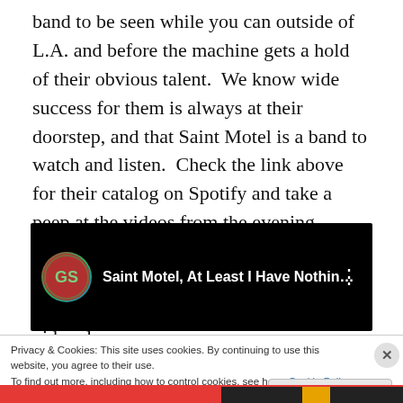band to be seen while you can outside of L.A. and before the machine gets a hold of their obvious talent.  We know wide success for them is always at their doorstep, and that Saint Motel is a band to watch and listen.  Check the link above for their catalog on Spotify and take a peep at the videos from the evening below.  Please also note, these guys cover a Del Shannon track – My Little Runaway.  How sick is that?  It's the third video down:
[Figure (screenshot): YouTube video thumbnail showing 'Saint Motel, At Least I Have Nothin...' with dark background, circular graffiti-style avatar on left, white title text, and three-dot menu icon on right]
Privacy & Cookies: This site uses cookies. By continuing to use this website, you agree to their use.
To find out more, including how to control cookies, see here: Cookie Policy